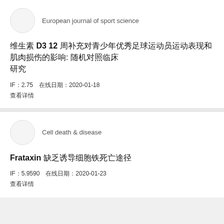European journal of sport science
维生素 D3 12 周补充对青少年优秀足球运动员运动表现和肌肉损伤的影响: 随机对照临床研究
IF：2.75　在线日期：2020-01-18
查看详情
Cell death &amp; disease
Frataxin 缺乏诱导细胞铁死亡途径
IF：5.9590　在线日期：2020-01-23
查看详情